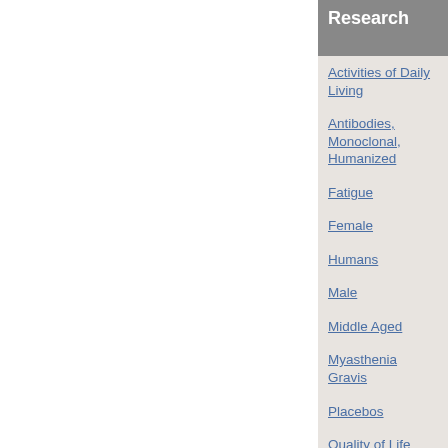Research
Activities of Daily Living
Antibodies, Monoclonal, Humanized
Fatigue
Female
Humans
Male
Middle Aged
Myasthenia Gravis
Placebos
Quality of Life
Receptors, Cholinergic